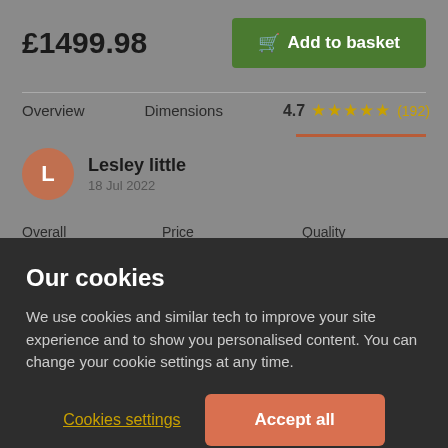£1499.98
Add to basket
Overview   Dimensions   4.7 ★★★★★ (192)
Lesley little
18 Jul 2022
Overall ★★★★★   Price ★★★★★   Quality ★★★★★
Sorrento Slate Grey Plush Fabric 3+2 Seater Recliner
Our cookies
We use cookies and similar tech to improve your site experience and to show you personalised content. You can change your cookie settings at any time.
Cookies settings
Accept all